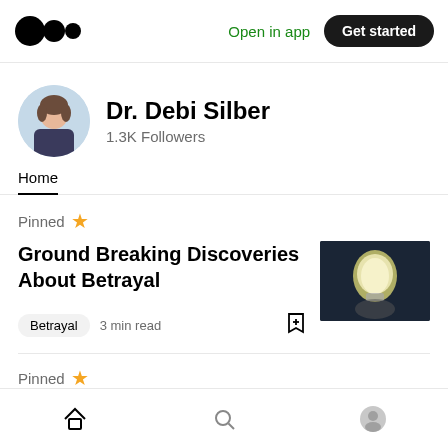Medium logo | Open in app | Get started
[Figure (photo): Medium logo: three circles of increasing size arranged horizontally]
Open in app
Get started
[Figure (photo): Profile photo of Dr. Debi Silber, a woman sitting casually]
Dr. Debi Silber
1.3K Followers
Home
Pinned
Ground Breaking Discoveries About Betrayal
[Figure (photo): Thumbnail image of a glowing light bulb being held in a dark setting]
Betrayal  3 min read
Pinned